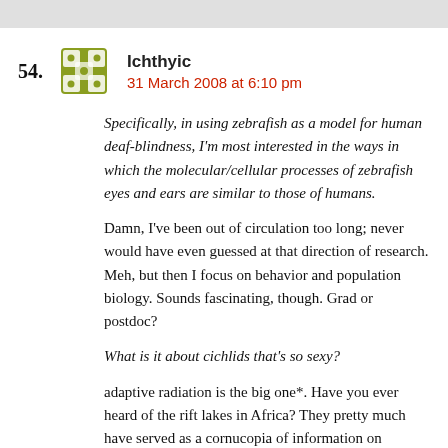54. Ichthyic
31 March 2008 at 6:10 pm
Specifically, in using zebrafish as a model for human deaf-blindness, I'm most interested in the ways in which the molecular/cellular processes of zebrafish eyes and ears are similar to those of humans.
Damn, I've been out of circulation too long; never would have even guessed at that direction of research. Meh, but then I focus on behavior and population biology. Sounds fascinating, though. Grad or postdoc?
What is it about cichlids that's so sexy?
adaptive radiation is the big one*. Have you ever heard of the rift lakes in Africa? They pretty much have served as a cornucopia of information on evolution and